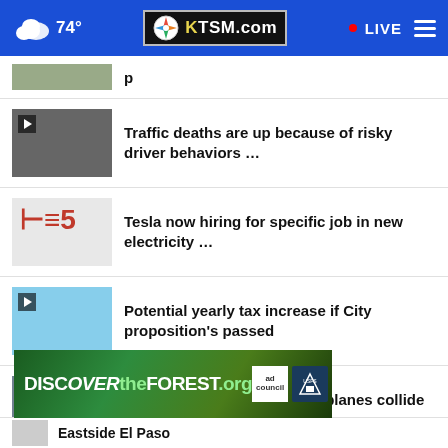74° KTSM.com LIVE
(partial item)
Traffic deaths are up because of risky driver behaviors …
Tesla now hiring for specific job in new electricity …
Potential yearly tax increase if City proposition's passed
Officials: At least 2 die after planes collide in …
CPS fires Texas employee after encouraging teen to …
[Figure (screenshot): DISCOVERtheFOREST.org ad banner with Ad Council and US Forest Service logos]
Eastside El Paso